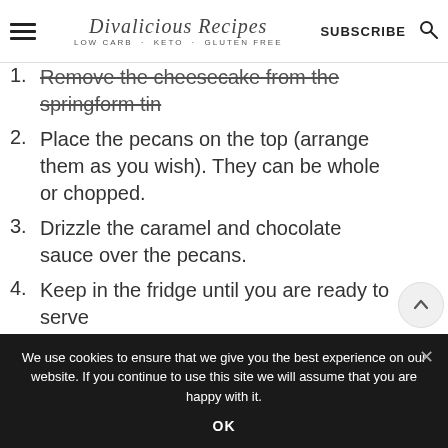Divalicious Recipes LOW CARB · KETO · GLUTEN FREE — SUBSCRIBE
1. Remove the cheesecake from the springform tin
2. Place the pecans on the top (arrange them as you wish).  They can be whole or chopped.
3. Drizzle the caramel and chocolate sauce over the pecans.
4. Keep in the fridge until you are ready to serve
We use cookies to ensure that we give you the best experience on our website. If you continue to use this site we will assume that you are happy with it.
OK